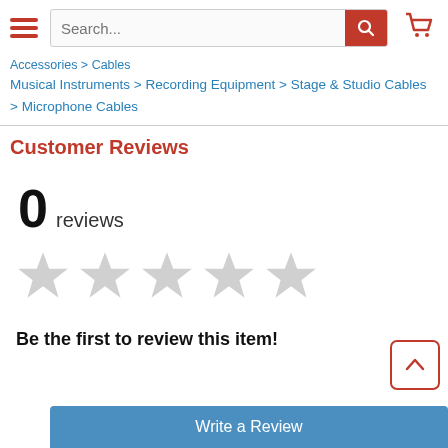Search... [search bar] [cart icon]
Accessories > Cables
Musical Instruments > Recording Equipment > Stage & Studio Cables > Microphone Cables
Customer Reviews
0 reviews
[Figure (other): Five empty grey star rating icons]
Be the first to review this item!
Write a Review